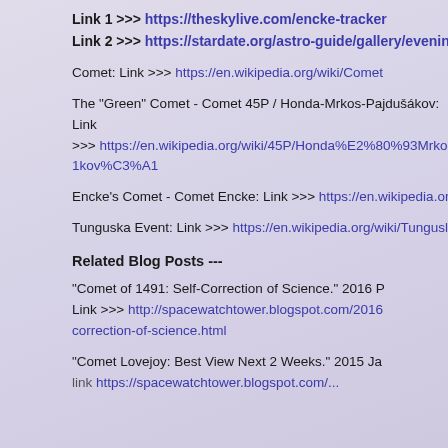Link 1 >>> https://theskylive.com/encke-tracker
Link 2 >>> https://stardate.org/astro-guide/gallery/evening-
Comet: Link >>> https://en.wikipedia.org/wiki/Comet
The "Green" Comet - Comet 45P / Honda-Mrkos-Pajdušákov: Link >>> https://en.wikipedia.org/wiki/45P/Honda%E2%80%93Mrko1kov%C3%A1
Encke's Comet - Comet Encke: Link >>> https://en.wikipedia.org/o
Tunguska Event: Link >>> https://en.wikipedia.org/wiki/Tungusl
Related Blog Posts ---
"Comet of 1491: Self-Correction of Science." 2016 P Link >>> http://spacewatchtower.blogspot.com/2016correction-of-science.html
"Comet Lovejoy: Best View Next 2 Weeks." 2015 Ja link >>> http://spacewatchtower.blogspot.com/...